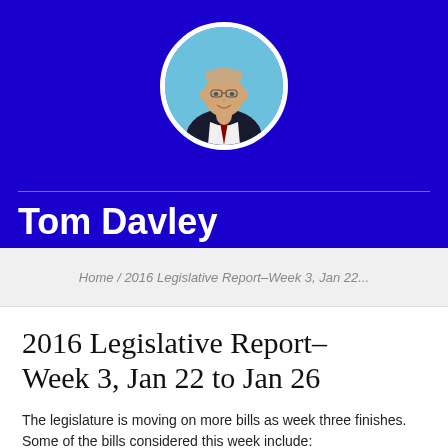[Figure (photo): Circular portrait photo of Tom Davley, a man in a suit with a light blue background]
Tom Davley
Home / 2016 Legislative Report–Week 3, Jan 22...
2016 Legislative Report–Week 3, Jan 22 to Jan 26
The legislature is moving on more bills as week three finishes.  Some of the bills considered this week include: